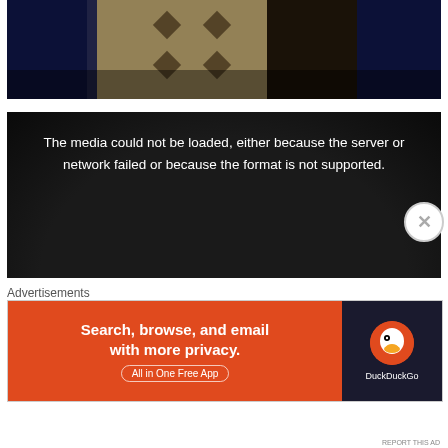[Figure (photo): Top portion of a textile or woven rug with dark blue and beige geometric/diamond pattern]
[Figure (screenshot): Video player with black background showing error message: The media could not be loaded, either because the server or network failed or because the format is not supported.]
Advertisements
[Figure (screenshot): DuckDuckGo advertisement banner with orange background. Left side: 'Search, browse, and email with more privacy. All in One Free App'. Right side: DuckDuckGo logo on dark background.]